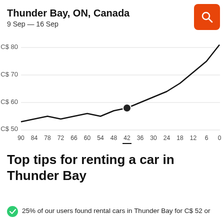Thunder Bay, ON, Canada
9 Sep — 16 Sep
[Figure (line-chart): Line chart showing rental car prices rising steeply as pickup date approaches. Price is roughly C$53-57 from 90 to 48 days out, ticks up to ~C$58 at 42 days (highlighted dot), then rises steeply to ~C$80+ at 0 days.]
Top tips for renting a car in Thunder Bay
25% of our users found rental cars in Thunder Bay for C$ 52 or